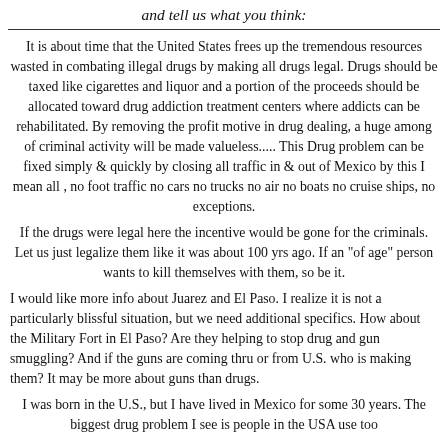and tell us what you think:
It is about time that the United States frees up the tremendous resources wasted in combating illegal drugs by making all drugs legal. Drugs should be taxed like cigarettes and liquor and a portion of the proceeds should be allocated toward drug addiction treatment centers where addicts can be rehabilitated. By removing the profit motive in drug dealing, a huge among of criminal activity will be made valueless..... This Drug problem can be fixed simply & quickly by closing all traffic in & out of Mexico by this I mean all , no foot traffic no cars no trucks no air no boats no cruise ships, no exceptions.
If the drugs were legal here the incentive would be gone for the criminals. Let us just legalize them like it was about 100 yrs ago. If an "of age" person wants to kill themselves with them, so be it.
I would like more info about Juarez and El Paso. I realize it is not a particularly blissful situation, but we need additional specifics. How about the Military Fort in El Paso? Are they helping to stop drug and gun smuggling? And if the guns are coming thru or from U.S. who is making them? It may be more about guns than drugs.
I was born in the U.S., but I have lived in Mexico for some 30 years. The biggest drug problem I see is people in the USA use too